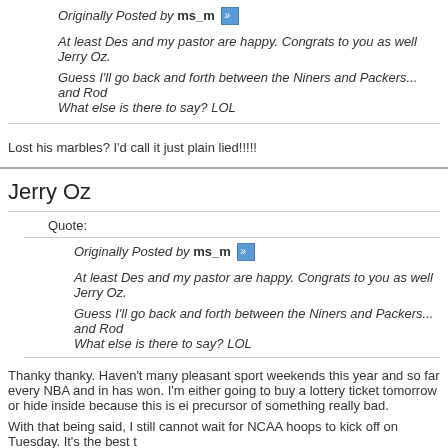Originally Posted by ms_m »
At least Des and my pastor are happy. Congrats to you as well Jerry Oz.
Guess I'll go back and forth between the Niners and Packers... and Rod... What else is there to say? LOL
Lost his marbles? I'd call it just plain lied!!!!!
Jerry Oz
Quote:
Originally Posted by ms_m »
At least Des and my pastor are happy. Congrats to you as well Jerry Oz.
Guess I'll go back and forth between the Niners and Packers... and Rod... What else is there to say? LOL
Thanky thanky. Haven't many pleasant sport weekends this year and so far every NBA and in has won. I'm either going to buy a lottery ticket tomorrow or hide inside because this is ei precursor of something really bad.
With that being said, I still cannot wait for NCAA hoops to kick off on Tuesday. It's the best t
And Aaron Rodgers is the arrogant **fill in the blank** in the league, so I'm not surprised to